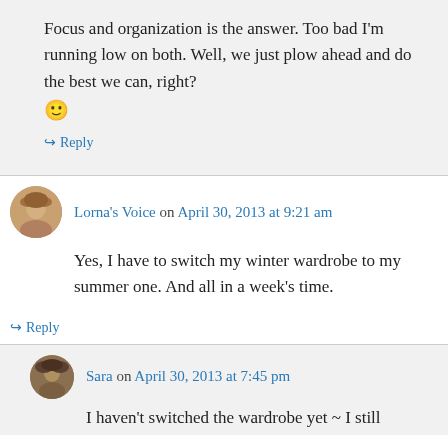Focus and organization is the answer. Too bad I'm running low on both. Well, we just plow ahead and do the best we can, right? 🙂
↪ Reply
Lorna's Voice on April 30, 2013 at 9:21 am
Yes, I have to switch my winter wardrobe to my summer one. And all in a week's time.
↪ Reply
Sara on April 30, 2013 at 7:45 pm
I haven't switched the wardrobe yet ~ I still